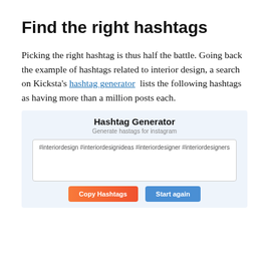Find the right hashtags
Picking the right hashtag is thus half the battle. Going back the example of hashtags related to interior design, a search on Kicksta's hashtag generator  lists the following hashtags as having more than a million posts each.
[Figure (screenshot): Screenshot of a 'Hashtag Generator' UI with subtitle 'Generate hashtags for instagram', a text box showing '#interiordesign #interiordesignideas #interiordesigner #interiordesigners', and two buttons: 'Copy Hashtags' (orange-red gradient) and 'Start again' (blue).]